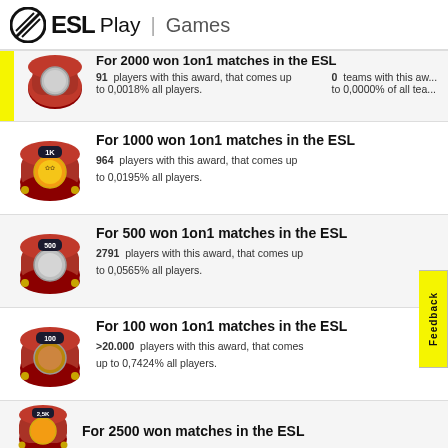ESL Play | Games
For 2000 won 1on1 matches in the ESL — 91 players with this award, that comes up to 0,0018% all players. 0 teams with this award, to 0,0000% of all teams.
[Figure (illustration): Medal on red pillow award icon for 1000 won matches]
For 1000 won 1on1 matches in the ESL — 964 players with this award, that comes up to 0,0195% all players.
[Figure (illustration): Medal on red pillow award icon for 500 won matches]
For 500 won 1on1 matches in the ESL — 2791 players with this award, that comes up to 0,0565% all players.
[Figure (illustration): Medal on red pillow award icon for 100 won matches]
For 100 won 1on1 matches in the ESL — >20.000 players with this award, that comes up to 0,7424% all players.
[Figure (illustration): Medal on red pillow award icon for 2500 won matches]
For 2500 won matches in the ESL